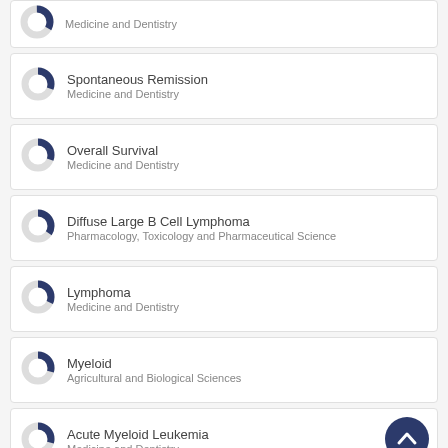Medicine and Dentistry (truncated top card)
Spontaneous Remission
Medicine and Dentistry
Overall Survival
Medicine and Dentistry
Diffuse Large B Cell Lymphoma
Pharmacology, Toxicology and Pharmaceutical Science
Lymphoma
Medicine and Dentistry
Myeloid
Agricultural and Biological Sciences
Acute Myeloid Leukemia
Medicine and Dentistry